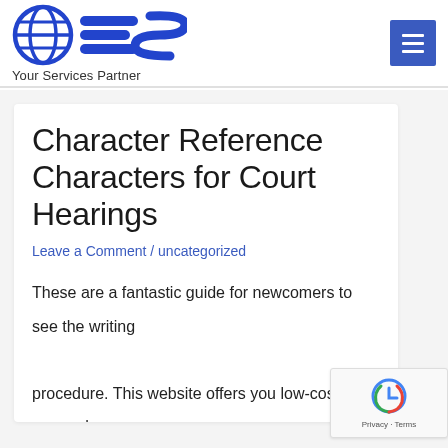OES — Your Services Partner
Character Reference Characters for Court Hearings
Leave a Comment / uncategorized
These are a fantastic guide for newcomers to see the writing procedure. This website offers you low-cost research papers on the market in several regions of analysis as well as in a variety of essay creating actions for exceptional college students begi…